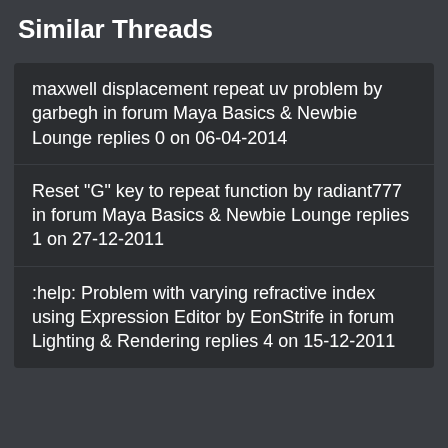Similar Threads
maxwell displacement repeat uv problem by garbegh in forum Maya Basics & Newbie Lounge replies 0 on 06-04-2014
Reset "G" key to repeat function by radiant777 in forum Maya Basics & Newbie Lounge replies 1 on 27-12-2011
:help: Problem with varying refractive index using Expression Editor by EonStrife in forum Lighting & Rendering replies 4 on 15-12-2011